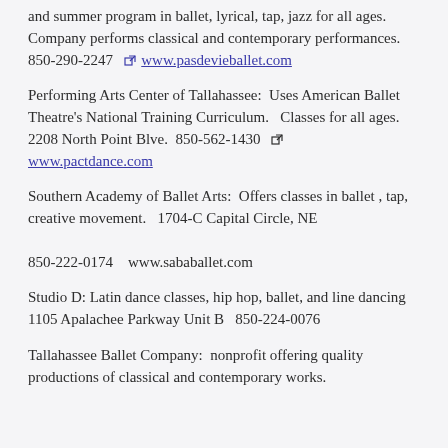and summer program in ballet, lyrical, tap, jazz for all ages. Company performs classical and contemporary performances. 850-290-2247 www.pasdevieballet.com
Performing Arts Center of Tallahassee: Uses American Ballet Theatre's National Training Curriculum. Classes for all ages. 2208 North Point Blve. 850-562-1430 www.pactdance.com
Southern Academy of Ballet Arts: Offers classes in ballet , tap, creative movement. 1704-C Capital Circle, NE 850-222-0174 www.sababallet.com
Studio D: Latin dance classes, hip hop, ballet, and line dancing 1105 Apalachee Parkway Unit B 850-224-0076
Tallahassee Ballet Company: nonprofit offering quality productions of classical and contemporary works.